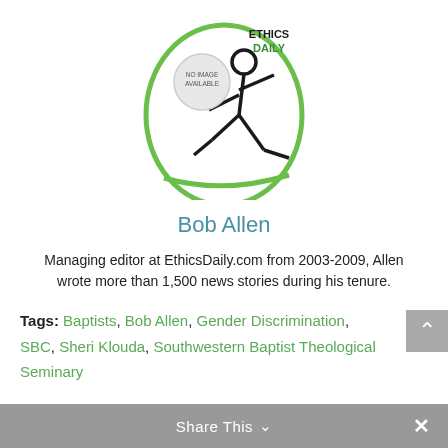[Figure (logo): Ethics Daily logo with stick figure running, oval green border, 'NO IMAGE AVAILABLE' text overlay, 'ETHICS DAILY' text in top right]
Bob Allen
Managing editor at EthicsDaily.com from 2003-2009, Allen wrote more than 1,500 news stories during his tenure.
Tags: Baptists, Bob Allen, Gender Discrimination, SBC, Sheri Klouda, Southwestern Baptist Theological Seminary
Share This ∨  ✕